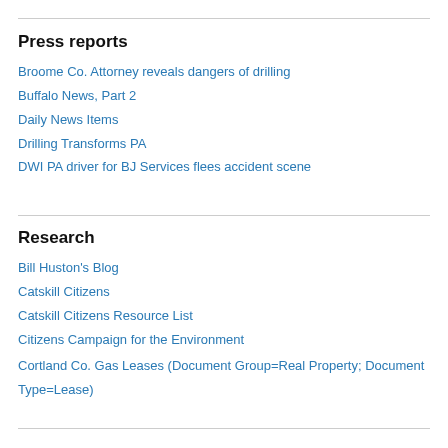Press reports
Broome Co. Attorney reveals dangers of drilling
Buffalo News, Part 2
Daily News Items
Drilling Transforms PA
DWI PA driver for BJ Services flees accident scene
Research
Bill Huston's Blog
Catskill Citizens
Catskill Citizens Resource List
Citizens Campaign for the Environment
Cortland Co. Gas Leases (Document Group=Real Property; Document Type=Lease)